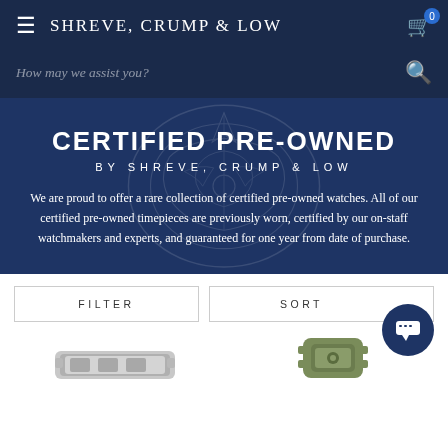SHREVE, CRUMP & LOW
How may we assist you?
CERTIFIED PRE-OWNED
BY SHREVE, CRUMP & LOW
We are proud to offer a rare collection of certified pre-owned watches. All of our certified pre-owned timepieces are previously worn, certified by our on-staff watchmakers and experts, and guaranteed for one year from date of purchase.
FILTER
SORT
[Figure (photo): Partial view of a silver watch bracelet/band at the bottom left]
[Figure (photo): Partial view of an olive/green colored watch at the bottom right]